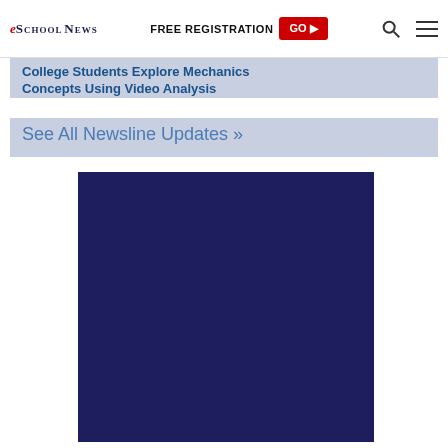eSchool News | FREE REGISTRATION GO ►
College Students Explore Mechanics Concepts Using Video Analysis
See All Newsline Updates »
[Figure (other): Dark navy blue rectangular advertisement block]